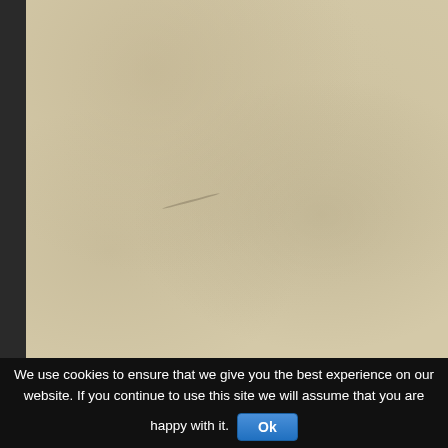[Figure (photo): Close-up photograph of aged, tan/beige paper or cardboard surface with slight texture, dust specks, and a faint curved scratch mark in the lower-center area. A dark strip runs along the left edge.]
We use cookies to ensure that we give you the best experience on our website. If you continue to use this site we will assume that you are happy with it. Ok